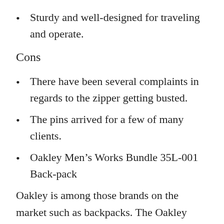Sturdy and well-designed for traveling and operate.
Cons
There have been several complaints in regards to the zipper getting busted.
The pins arrived for a few of many clients.
Oakley Men’s Works Bundle 35L-001 Back-pack
Oakley is among those brands on the market such as backpacks. The Oakley Men’s Work Package is an excellent addition to work items. It’s large enough that you carry most of your working environment substances and store them within. Made from nylon, this tote can be washed after usage from the system. The appearance is neat and fashionable for carrying to perform.